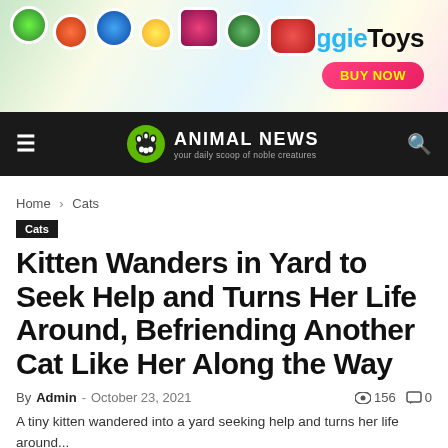[Figure (photo): DoggieToys advertisement banner with colorful dog toys and a 'BUY NOW' pink button]
ANIMAL NEWS — your daily scoop of noble creatures
Home › Cats
Cats
Kitten Wanders in Yard to Seek Help and Turns Her Life Around, Befriending Another Cat Like Her Along the Way
By Admin - October 23, 2021  156  0
A tiny kitten wandered into a yard seeking help and turns her life around...